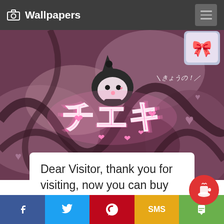Wallpapers
[Figure (illustration): Kuromi (Sanrio character) themed wallpaper with pink glowing Japanese text チエキ and hearts on a dark purple swirling background]
Dear Visitor, thank you for visiting, now you can buy me a coffee.
Facebook | Twitter | Pinterest | SMS | Share